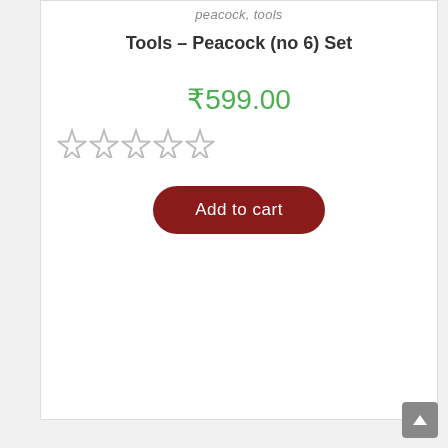peacock, tools
Tools – Peacock (no 6) Set
₹599.00
[Figure (other): Five empty star rating icons (gray outline stars, no fill)]
Add to cart
[Figure (other): Empty white card/product area below the first product card]